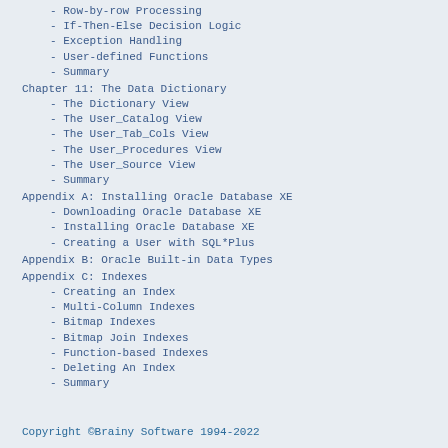- Row-by-row Processing
- If-Then-Else Decision Logic
- Exception Handling
- User-defined Functions
- Summary
Chapter 11: The Data Dictionary
- The Dictionary View
- The User_Catalog View
- The User_Tab_Cols View
- The User_Procedures View
- The User_Source View
- Summary
Appendix A: Installing Oracle Database XE
- Downloading Oracle Database XE
- Installing Oracle Database XE
- Creating a User with SQL*Plus
Appendix B: Oracle Built-in Data Types
Appendix C: Indexes
- Creating an Index
- Multi-Column Indexes
- Bitmap Indexes
- Bitmap Join Indexes
- Function-based Indexes
- Deleting An Index
- Summary
Copyright ©Brainy Software 1994-2022